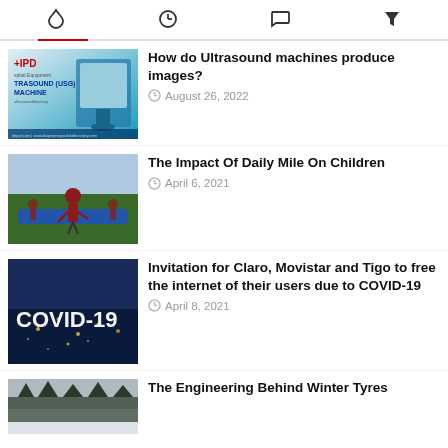Navigation bar with icons: trending/fire, clock, comments, tag
[Figure (screenshot): Thumbnail image of IPD Ultrasound (USG) Machine product listing]
How do Ultrasound machines produce images?
August 26, 2022
[Figure (photo): Children running on a blue track outdoor, wearing red school uniforms]
The Impact Of Daily Mile On Children
April 6, 2021
[Figure (photo): COVID-19 text overlaid on aerial city night photo]
Invitation for Claro, Movistar and Tigo to free the internet of their users due to COVID-19
April 8, 2021
[Figure (photo): Winter landscape with snow and trees, grey sky]
The Engineering Behind Winter Tyres